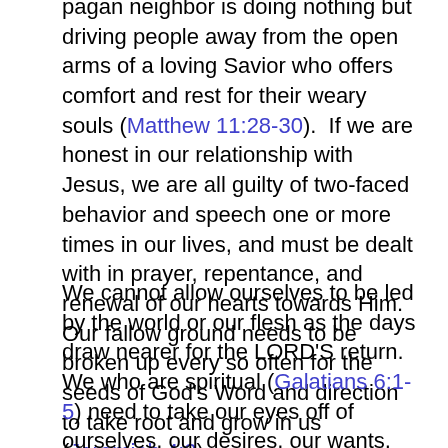pagan neighbor is doing nothing but driving people away from the open arms of a loving Savior who offers comfort and rest for their weary souls (Matthew 11:28-30).  If we are honest in our relationship with Jesus, we are all guilty of two-faced behavior and speech one or more times in our lives, and must be dealt with in prayer, repentance, and renewal of our hearts towards Him.  Our fallow ground needs to be broken up every so often for the seeds of God's Word and direction to take root and grow in us (Jeremiah 4:3).
We cannot allow ourselves to be led by the world or our flesh as the days draw nearer for the LORD'S return.  We who are spiritual (Galatians 6:1-5) need to take our eyes off of ourselves, our desires, our wants, and to instead re-engage in intercessory prayer, self-denial, godly behavior, and renew our reverence and worship of the Sovereign LORD God